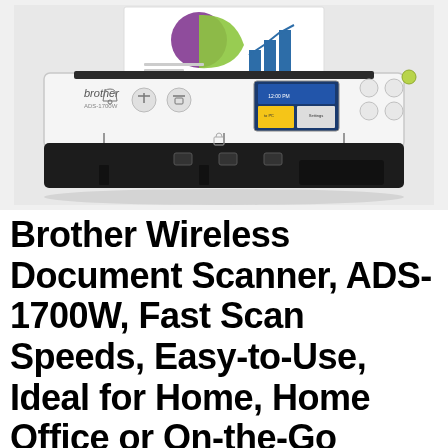[Figure (photo): Brother ADS-1700W wireless document scanner, white and black body, shown from the front with a document being fed through. The scanner has a small color LCD touchscreen display, control buttons, and the Brother brand logo on the front panel.]
Brother Wireless Document Scanner, ADS-1700W, Fast Scan Speeds, Easy-to-Use, Ideal for Home, Home Office or On-the-Go Professionals (ADS1700W), white